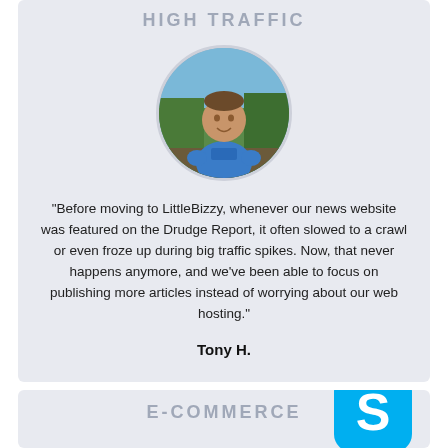HIGH TRAFFIC
[Figure (photo): Circular profile photo of Tony H., a man wearing a blue t-shirt standing outdoors with green trees and nature in the background.]
"Before moving to LittleBizzy, whenever our news website was featured on the Drudge Report, it often slowed to a crawl or even froze up during big traffic spikes. Now, that never happens anymore, and we've been able to focus on publishing more articles instead of worrying about our web hosting."
Tony H.
E-COMMERCE
[Figure (logo): Skype logo — blue rounded square with white S letter]